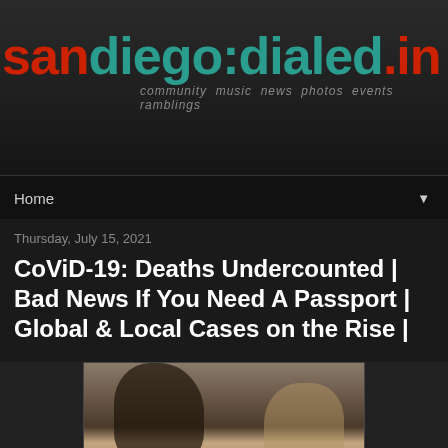san diego:dialed.in — community music news photos events ramblings
Home
Thursday, July 15, 2021
CoViD-19: Deaths Undercounted | Bad News If You Need A Passport | Global & Local Cases on the Rise |
[Figure (photo): Photo of two cats cuddling together, dark and light colored cats snuggled close]